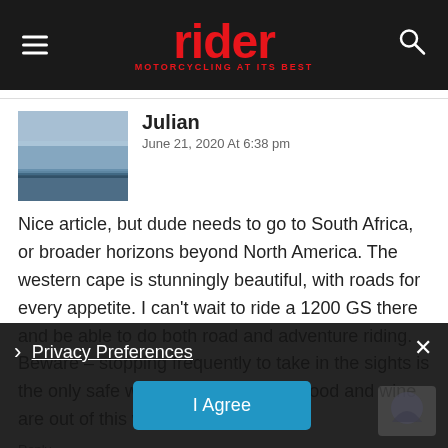rider MOTORCYCLING AT ITS BEST
Julian
June 21, 2020 At 6:38 pm
Nice article, but dude needs to go to South Africa, or broader horizons beyond North America. The western cape is stunningly beautiful, with roads for every appetite. I can't wait to ride a 1200 GS there and be able to do both road and adventure riding. Beware – stopping frequently to take in the sights is the only safe way to drive! (And the food and wine are out of this world!)
Reply
Privacy Preferences
I Agree